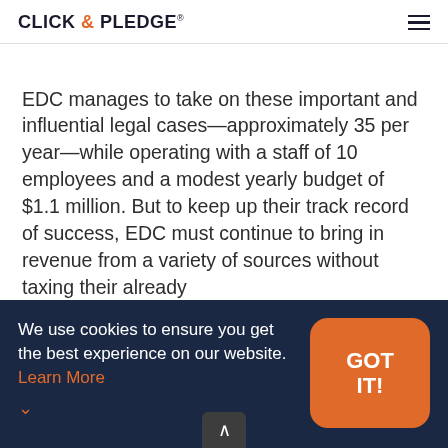CLICK & PLEDGE®
EDC manages to take on these important and influential legal cases—approximately 35 per year—while operating with a staff of 10 employees and a modest yearly budget of $1.1 million. But to keep up their track record of success, EDC must continue to bring in revenue from a variety of sources without taxing their already
We use cookies to ensure you get the best experience on our website. Learn More
GOT IT!